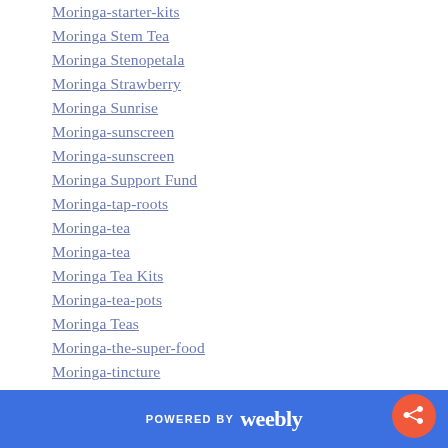Moringa-starter-kits
Moringa Stem Tea
Moringa Stenopetala
Moringa Strawberry
Moringa Sunrise
Moringa-sunscreen
Moringa-sunscreen
Moringa Support Fund
Moringa-tap-roots
Moringa-tea
Moringa-tea
Moringa Tea Kits
Moringa-tea-pots
Moringa Teas
Moringa-the-super-food
Moringa-tincture
Moringa-tintures
POWERED BY weebly